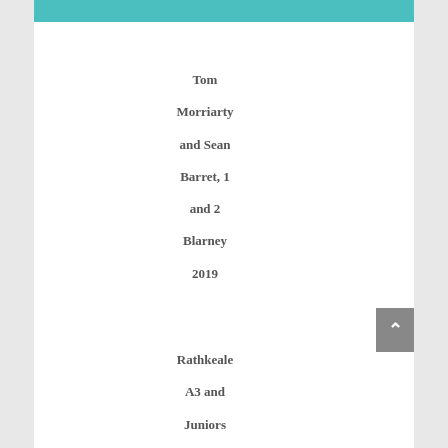[Figure (logo): Teal banner with partial circular logo visible at top]
Tom Morriarty and Sean Barret, 1 and 2 Blarney 2019
Rathkeale A3 and Juniors 2018